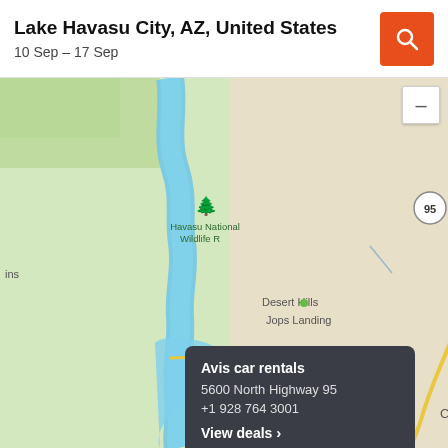Lake Havasu City, AZ, United States
10 Sep – 17 Sep
[Figure (map): Map of Lake Havasu City, AZ area showing Havasu National Wildlife Refuge, river/lake waterway, highway 95, Desert Hills, Jops Landing, and Lake Havasu labels. Yellow highway route visible. Terrain shown with beige/green coloring.]
Avis car rentals
5600 North Highway 95
+1 928 764 3001
View deals >